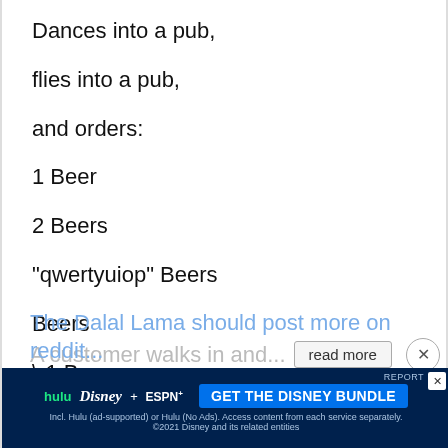Dances into a pub,
flies into a pub,
and orders:
1 Beer
2 Beers
"qwertyuiop" Beers
Beers
\-1 Beers
Content, he leaves
A customer walks in and...
[Figure (other): Disney Bundle advertisement banner: hulu, Disney+, ESPN+ logos with 'GET THE DISNEY BUNDLE' button. Fine print: Incl. Hulu (ad-supported) or Hulu (No Ads). Access content from each service separately. ©2021 Disney and its related entities]
The Dalal Lama should post more on reddit...